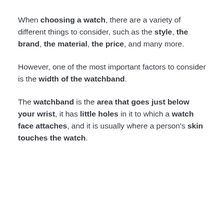When choosing a watch, there are a variety of different things to consider, such as the style, the brand, the material, the price, and many more.
However, one of the most important factors to consider is the width of the watchband.
The watchband is the area that goes just below your wrist, it has little holes in it to which a watch face attaches, and it is usually where a person's skin touches the watch.